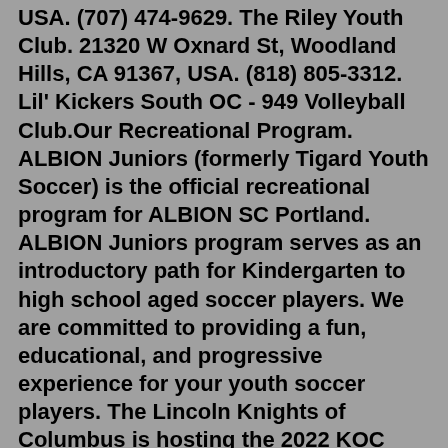USA. (707) 474-9629. The Riley Youth Club. 21320 W Oxnard St, Woodland Hills, CA 91367, USA. (818) 805-3312. Lil' Kickers South OC - 949 Volleyball Club.Our Recreational Program. ALBION Juniors (formerly Tigard Youth Soccer) is the official recreational program for ALBION SC Portland. ALBION Juniors program serves as an introductory path for Kindergarten to high school aged soccer players. We are committed to providing a fun, educational, and progressive experience for your youth soccer players. The Lincoln Knights of Columbus is hosting the 2022 KOC Soccer Challenge on Friday September 16th at the Foskett Ranch Park soccer field. This is a youth soccer "Penalty Kick competition" for BOYS and GIRLS ages 9-14, and is free to all participants. Each year, the Knights of Columbus makes a donation to the LYSC to support scholarships for ...Welcome to the US Youth Soccer Tournament Database. This database is useful for all approved US Youth Soccer Tournaments across the